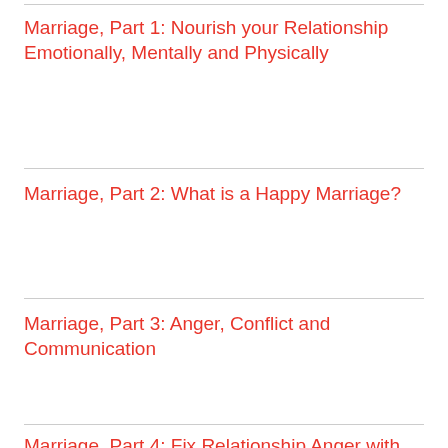Marriage, Part 1: Nourish your Relationship Emotionally, Mentally and Physically
Marriage, Part 2: What is a Happy Marriage?
Marriage, Part 3: Anger, Conflict and Communication
Marriage, Part 4: Fix Relationship Anger with Communication and